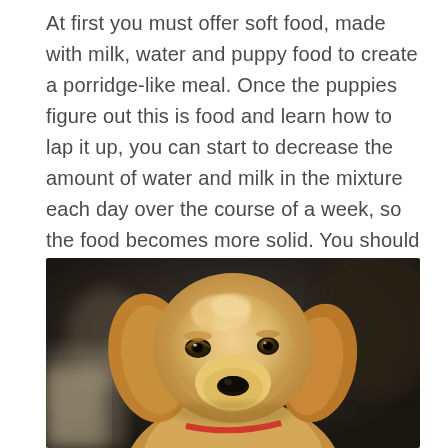At first you must offer soft food, made with milk, water and puppy food to create a porridge-like meal. Once the puppies figure out this is food and learn how to lap it up, you can start to decrease the amount of water and milk in the mixture each day over the course of a week, so the food becomes more solid. You should then gradually increase the amount of food in the puppies' diet as they age to gently wean them off milk.
[Figure (photo): Close-up portrait of a golden retriever puppy with soft fur, looking slightly upward, with a blurred dark background and wearing a red collar.]